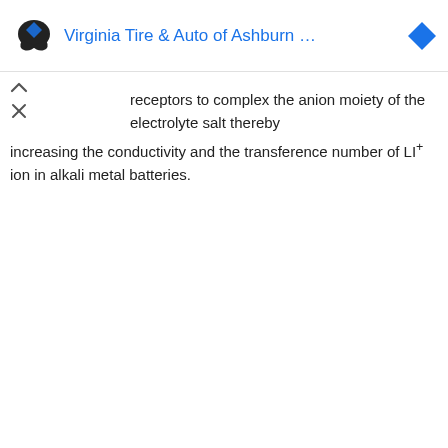[Figure (other): Advertisement banner for Virginia Tire & Auto of Ashburn with logo icons and blue text title]
receptors to complex the anion moiety of the electrolyte salt thereby increasing the conductivity and the transference number of LI+ ion in alkali metal batteries.